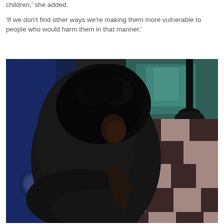children,' she added.

'If we don't find other ways we're making them more vulnerable to people who would harm them in that manner.'
[Figure (photo): A low-quality surveillance or video-still image showing a person with dark curly hair bent over, wearing a blue shirt, in an indoor space with a checkered black and white floor. In the background a teal/green lit area is visible with a dark pole or stanchion stand.]